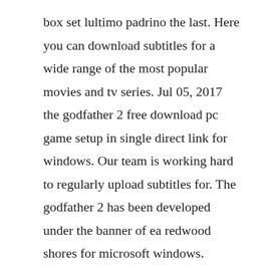box set lultimo padrino the last. Here you can download subtitles for a wide range of the most popular movies and tv series. Jul 05, 2017 the godfather 2 free download pc game setup in single direct link for windows. Our team is working hard to regularly upload subtitles for. The godfather 2 has been developed under the banner of ea redwood shores for microsoft windows. Reddemed the code through origin fine and i had to download 2 small files about 1 minute from the internet to get it to launch. May 22, 2017